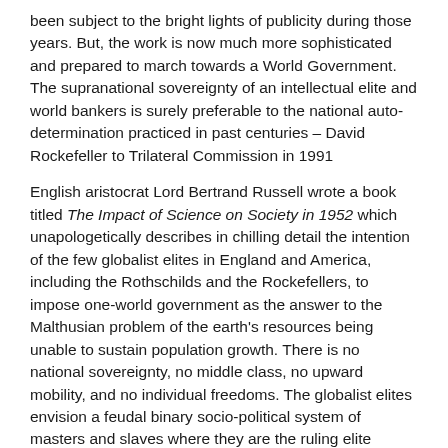been subject to the bright lights of publicity during those years. But, the work is now much more sophisticated and prepared to march towards a World Government. The supranational sovereignty of an intellectual elite and world bankers is surely preferable to the national auto-determination practiced in past centuries – David Rockefeller to Trilateral Commission in 1991
English aristocrat Lord Bertrand Russell wrote a book titled The Impact of Science on Society in 1952 which unapologetically describes in chilling detail the intention of the few globalist elites in England and America, including the Rothschilds and the Rockefellers, to impose one-world government as the answer to the Malthusian problem of the earth's resources being unable to sustain population growth. There is no national sovereignty, no middle class, no upward mobility, and no individual freedoms. The globalist elites envision a feudal binary socio-political system of masters and slaves where they are the ruling elite served by an enslaved population – everyone else is eliminated. "World population needs to be decreased by 50%"– Henry Kissinger.